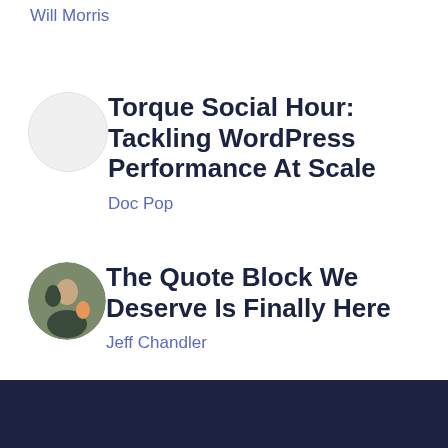Will Morris
Torque Social Hour: Tackling WordPress Performance At Scale
Doc Pop
The Quote Block We Deserve Is Finally Here
Jeff Chandler